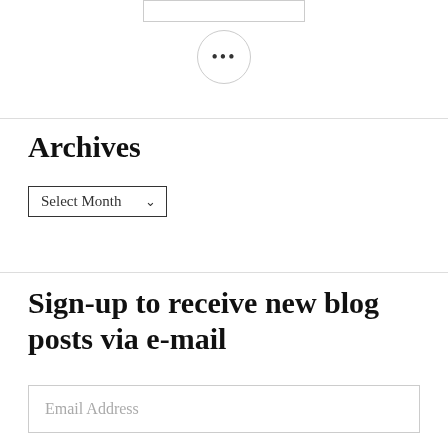[Figure (other): A circular button with three dots (ellipsis) indicating more options]
Archives
[Figure (other): A dropdown select box with label 'Select Month' and a chevron arrow]
Sign-up to receive new blog posts via e-mail
[Figure (other): An email address input field with placeholder text 'Email Address']